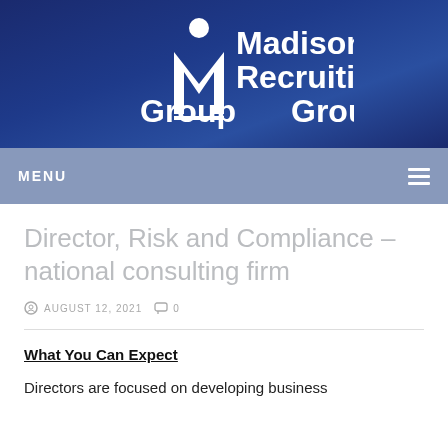[Figure (logo): Madison Recruiting Group logo — white stylized M figure with person icon above, text 'Madison Recruiting Group' on dark blue gradient background]
MENU
Director, Risk and Compliance – national consulting firm
AUGUST 12, 2021   0
What You Can Expect
Directors are focused on developing business